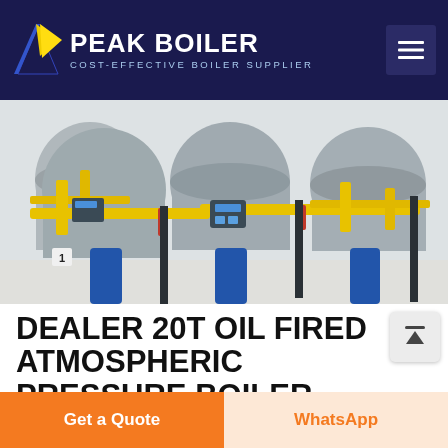PEAK BOILER COST-EFFECTIVE BOILER SUPPLIER
[Figure (photo): Industrial boilers in a facility — large cylindrical gas/oil-fired atmospheric pressure boilers with blue bases, yellow pipes, and red fittings arranged in a row on a white factory floor.]
DEALER 20T OIL FIRED ATMOSPHERIC PRESSURE BOILER TAJIKISTAN
4t Natural Gas Atmospheric Pressure Boiler Tajikistan 4T 6T
Get a Quote
WhatsApp